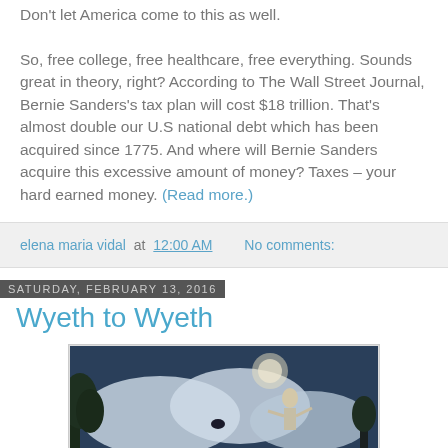Don't let America come to this as well.

So, free college, free healthcare, free everything. Sounds great in theory, right? According to The Wall Street Journal, Bernie Sanders's tax plan will cost $18 trillion. That's almost double our U.S national debt which has been acquired since 1775. And where will Bernie Sanders acquire this excessive amount of money? Taxes – your hard earned money. (Read more.)
elena maria vidal at 12:00 AM   No comments:
Saturday, February 13, 2016
Wyeth to Wyeth
[Figure (photo): A painting showing a ethereal female figure in a blue/white wintry or moonlit landscape with trees and clouds.]